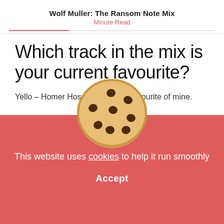Wolf Muller: The Ransom Note Mix
Minute Read
Which track in the mix is your current favourite?
Yello – Homer Hossa, an alltime favourite of mine.
[Figure (illustration): A chocolate chip cookie illustration overlapping a red cookie consent banner]
This website uses cookies to help it run smoothly
Accept